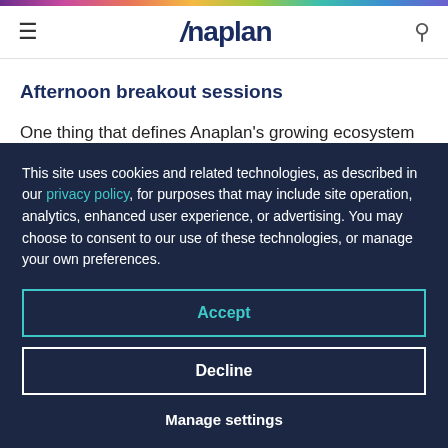Anaplan
Afternoon breakout sessions
One thing that defines Anaplan's growing ecosystem is the collective focus on the value of collaboration
This site uses cookies and related technologies, as described in our privacy policy, for purposes that may include site operation, analytics, enhanced user experience, or advertising. You may choose to consent to our use of these technologies, or manage your own preferences.
Accept
Decline
Manage settings